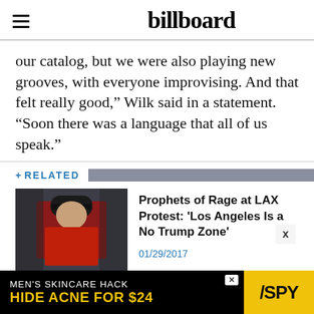billboard
our catalog, but we were also playing new grooves, with everyone improvising. And that felt really good,” Wilk said in a statement. “Soon there was a language that all of us speak.”
+ RELATED
[Figure (photo): Photo of a person in a red jacket wearing a black cap, possibly performing or at a protest event]
Prophets of Rage at LAX Protest: 'Los Angeles Is a No Trump Zone'
01/29/2017
For More information on this topic...
[Figure (infographic): Advertisement banner: MEN'S SKINCARE HACK HIDE ACNE FOR $24 / SPY]